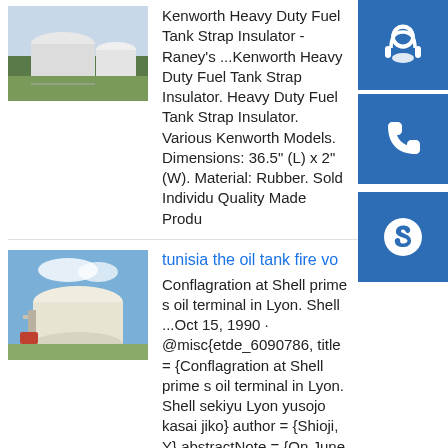[Figure (photo): Photo of large white industrial fuel storage tanks with green lawn]
Kenworth Heavy Duty Fuel Tank Strap Insulator - Raney's ...Kenworth Heavy Duty Fuel Tank Strap Insulator. Heavy Duty Fuel Tank Strap Insulator. Various Kenworth Models. Dimensions: 36.5" (L) x 2" (W). Material: Rubber. Sold Individually. Quality Made Produ
[Figure (photo): Photo of white oil tank at industrial terminal under blue sky]
tunisia the oil tank fire vo
Conflagration at Shell prime s oil terminal in Lyon. Shell ...Oct 15, 1990 · @misc{etde_6090786, title = {Conflagration at Shell prime s oil terminal in Lyon. Shell sekiyu Lyon yusojo kasai jiko} author = {Shioji, Y} abstractNote = {On June 2 in
[Figure (other): Blue button with headset/customer support icon]
[Figure (other): Blue button with phone icon]
[Figure (other): Blue button with Skype icon]